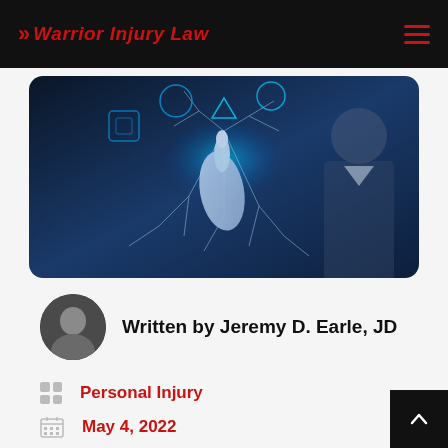Warrior Injury Law
[Figure (photo): Woman in business attire touching a glowing cracked digital screen with holographic interface icons]
Written by Jeremy D. Earle, JD
Personal Injury
May 4, 2022